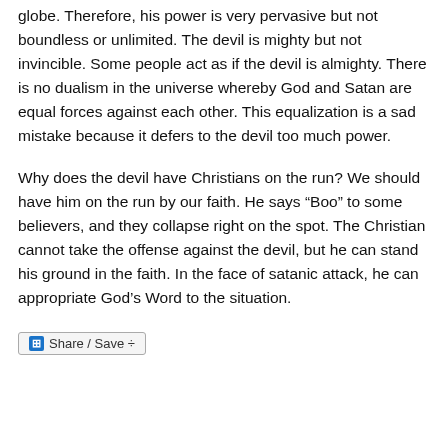globe. Therefore, his power is very pervasive but not boundless or unlimited. The devil is mighty but not invincible. Some people act as if the devil is almighty. There is no dualism in the universe whereby God and Satan are equal forces against each other. This equalization is a sad mistake because it defers to the devil too much power.
Why does the devil have Christians on the run? We should have him on the run by our faith. He says “Boo” to some believers, and they collapse right on the spot. The Christian cannot take the offense against the devil, but he can stand his ground in the faith. In the face of satanic attack, he can appropriate God’s Word to the situation.
⊞ Share / Save ÷